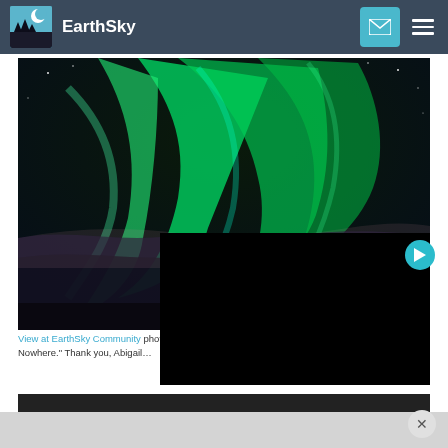EarthSky
[Figure (photo): Aurora borealis (northern lights) with vivid green curtains against a dark night sky with stars and clouds below, photographed in Iqaluit, Nunavut, Canada.]
View at EarthSky Community photo of the waning gibbous northern lights in Iqaluit, Nu… Nowhere." Thank you, Abigail…